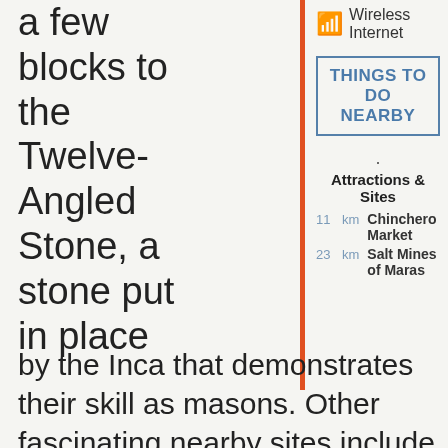a few blocks to the Twelve-Angled Stone, a stone put in place
Wireless Internet
THINGS TO DO NEARBY
Attractions & Sites
11 km Chinchero Market
23 km Salt Mines of Maras
by the Inca that demonstrates their skill as masons. Other fascinating nearby sites include Qorikancha, a Spanish convent built on the ruins of an Inca temple. You can also walk to the Plaza de Armas, the city center of historic Cusco — here you'll see important monuments like the Cusco Cathedral, which was built